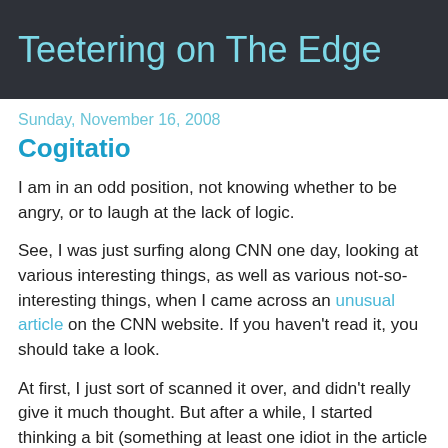Teetering on The Edge
Sunday, November 16, 2008
Cogitatio
I am in an odd position, not knowing whether to be angry, or to laugh at the lack of logic.
See, I was just surfing along CNN one day, looking at various interesting things, as well as various not-so-interesting things, when I came across an unusual article on the CNN website. If you haven't read it, you should take a look.
At first, I just sort of scanned it over, and didn't really give it much thought. But after a while, I started thinking a bit (something at least one idiot in the article didn't do), and well, it made me sort of upset/amused.